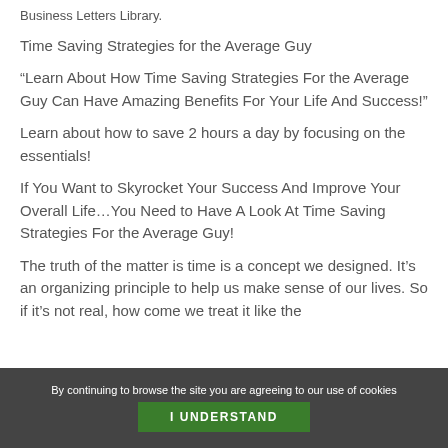Business Letters Library.
Time Saving Strategies for the Average Guy
“Learn About How Time Saving Strategies For the Average Guy Can Have Amazing Benefits For Your Life And Success!”
Learn about how to save 2 hours a day by focusing on the essentials!
If You Want to Skyrocket Your Success And Improve Your Overall Life…You Need to Have A Look At Time Saving Strategies For the Average Guy!
The truth of the matter is time is a concept we designed. It’s an organizing principle to help us make sense of our lives. So if it’s not real, how come we treat it like the
By continuing to browse the site you are agreeing to our use of cookies
I UNDERSTAND